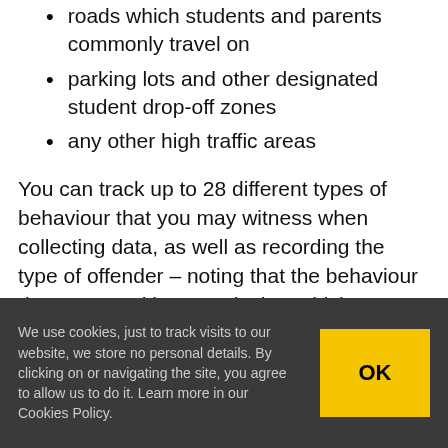roads which students and parents commonly travel on
parking lots and other designated student drop-off zones
any other high traffic areas
You can track up to 28 different types of behaviour that you may witness when collecting data, as well as recording the type of offender – noting that the behaviour demonstrated by a particular vehicle type, a pedestrian, a cyclist etc. Adding an offender
We use cookies, just to track visits to our website, we store no personal details. By clicking on or navigating the site, you agree to allow us to do it. Learn more in our Cookies Policy.